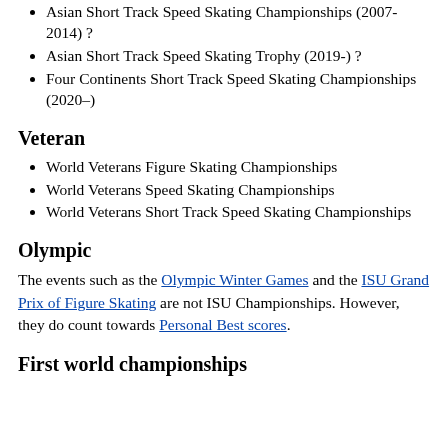Asian Short Track Speed Skating Championships (2007-2014) ?
Asian Short Track Speed Skating Trophy (2019-) ?
Four Continents Short Track Speed Skating Championships (2020–)
Veteran
World Veterans Figure Skating Championships
World Veterans Speed Skating Championships
World Veterans Short Track Speed Skating Championships
Olympic
The events such as the Olympic Winter Games and the ISU Grand Prix of Figure Skating are not ISU Championships. However, they do count towards Personal Best scores.
First world championships